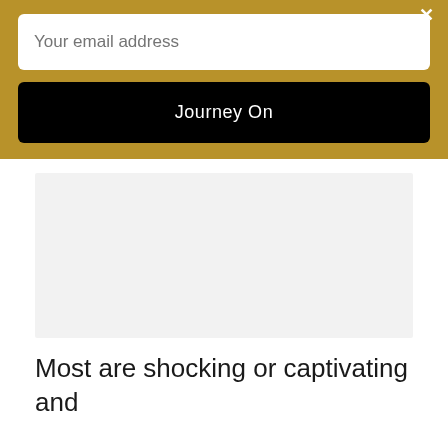Your email address
Journey On
[Figure (other): Large light gray placeholder image area]
Most are shocking or captivating and